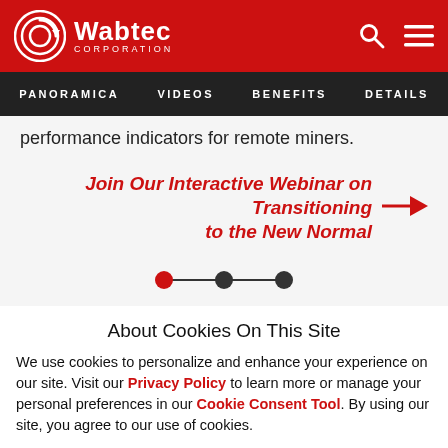Wabtec Corporation — PANORAMICA | VIDEOS | BENEFITS | DETAILS
performance indicators for remote miners.
Join Our Interactive Webinar on Transitioning to the New Normal
[Figure (infographic): Three pagination dots connected by a line; first dot is red, second and third are dark/black]
About Cookies On This Site
We use cookies to personalize and enhance your experience on our site. Visit our Privacy Policy to learn more or manage your personal preferences in our Cookie Consent Tool. By using our site, you agree to our use of cookies.
Options | Accept